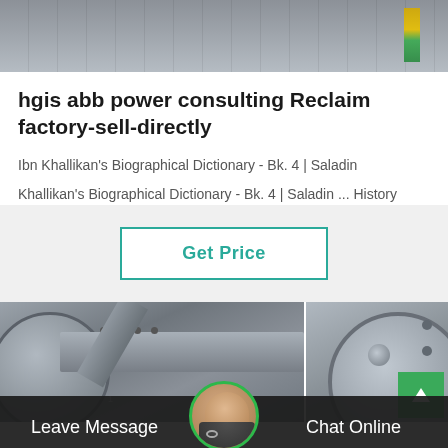[Figure (photo): Industrial machinery photo at top of page, showing metal components in grayscale tones]
hgis abb power consulting Reclaim factory-sell-directly
Ibn Khallikan's Biographical Dictionary - Bk. 4 | Saladin
Khallikan's Biographical Dictionary - Bk. 4 | Saladin ... History
[Figure (other): Get Price button with teal border on light gray background]
[Figure (photo): Two industrial machinery photos at bottom showing large metal pipes and flanged vessels]
Leave Message   Chat Online